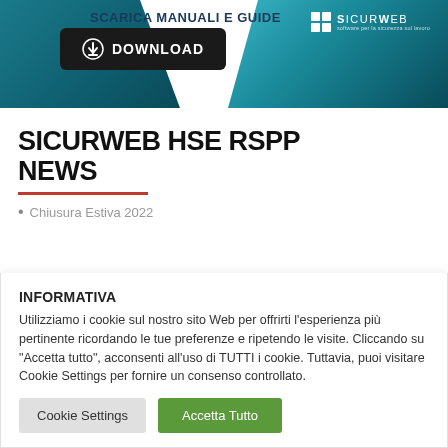[Figure (screenshot): SicurWeb banner with teal gradient background, download button, and SicurWeb logo. Text reads 'SCARICA MANUALI E GUIDE' and a black download button with cloud icon and 'DOWNLOAD' text.]
SICURWEB HSE RSPP NEWS
Chiusura Estiva 2022
INFORMATIVA
Utilizziamo i cookie sul nostro sito Web per offrirti l'esperienza più pertinente ricordando le tue preferenze e ripetendo le visite. Cliccando su "Accetta tutto", acconsenti all'uso di TUTTI i cookie. Tuttavia, puoi visitare Cookie Settings per fornire un consenso controllato.
Cookie Settings  Accetta Tutto